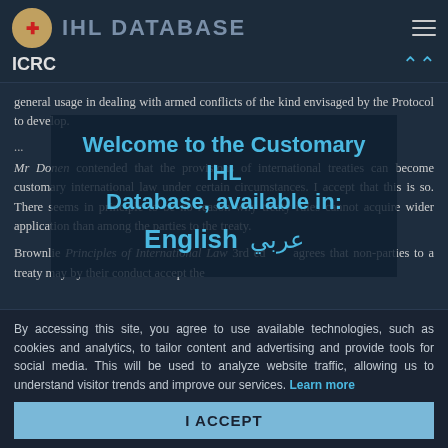IHL DATABASE — ICRC
general usage in dealing with armed conflicts of the kind envisaged by the Protocol to develop.
...
[Figure (screenshot): Welcome modal overlay: 'Welcome to the Customary IHL Database, available in: English / عربي']
Mr Donen contended that the provisions of international treaties can become customary international law under certain circumstances. I accept that this is so. There seems in principle to be no reason why treaty rules cannot acquire wider application than among the parties to the treaty.
Brownlie Principles of International Law 3rd ed ... agrees that non-parties to a treaty may by their conduct accept the
By accessing this site, you agree to use available technologies, such as cookies and analytics, to tailor content and advertising and provide tools for social media. This will be used to analyze website traffic, allowing us to understand visitor trends and improve our services. Learn more
I ACCEPT